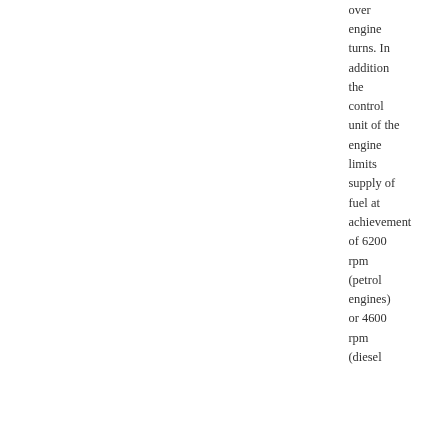over engine turns. In addition the control unit of the engine limits supply of fuel at achievement of 6200 rpm (petrol engines) or 4600 rpm (diesel